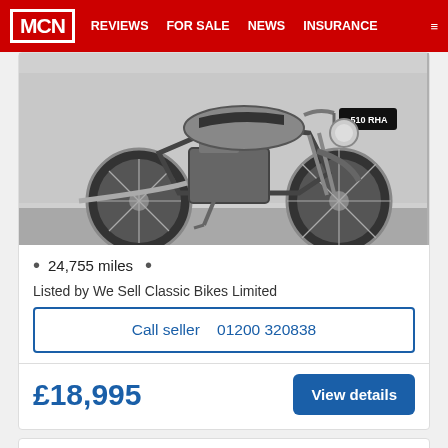MCN  REVIEWS  FOR SALE  NEWS  INSURANCE
[Figure (photo): Classic motorcycle (BSA) parked on a stand, black and white photo, registration plate 510 RHA visible on front mudguard]
24,755 miles
Listed by We Sell Classic Bikes Limited
Call seller    01200 320838
£18,995
View details
BSA BANTAM (2017)